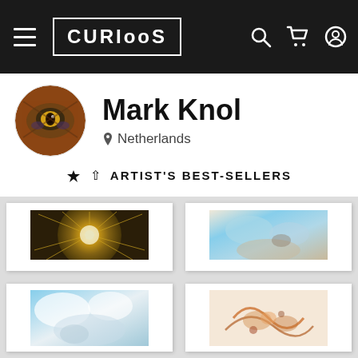CURIOOS — Navigation header with logo, search, cart, and account icons
Mark Knol
Netherlands
ARTIST'S BEST-SELLERS
[Figure (photo): Abstract golden/yellow burst artwork print in white frame]
[Figure (photo): Abstract blue and beige painting print in white frame]
[Figure (photo): Abstract blue and white cloudy painting print in white frame]
[Figure (photo): Abstract rust/orange swirling artwork print in white frame]